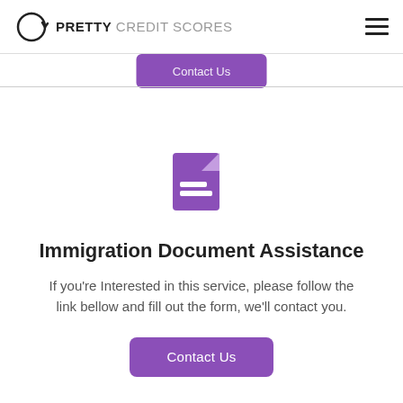PRETTY CREDIT SCORES
[Figure (logo): Pretty Credit Scores logo with circular arrow icon]
Contact Us
[Figure (illustration): Purple document icon with text lines]
Immigration Document Assistance
If you're Interested in this service, please follow the link bellow and fill out the form, we'll contact you.
Contact Us